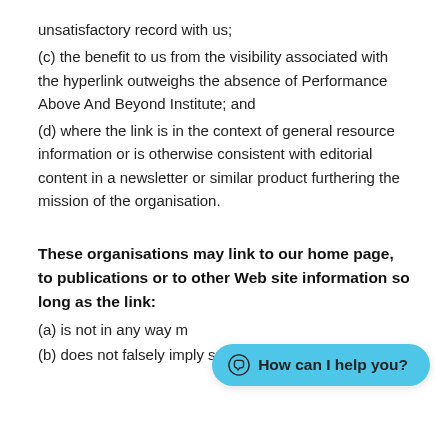unsatisfactory record with us;
(c) the benefit to us from the visibility associated with the hyperlink outweighs the absence of Performance Above And Beyond Institute; and
(d) where the link is in the context of general resource information or is otherwise consistent with editorial content in a newsletter or similar product furthering the mission of the organisation.
These organisations may link to our home page, to publications or to other Web site information so long as the link:
(a) is not in any way m...
(b) does not falsely imply sponsorship, endorsement